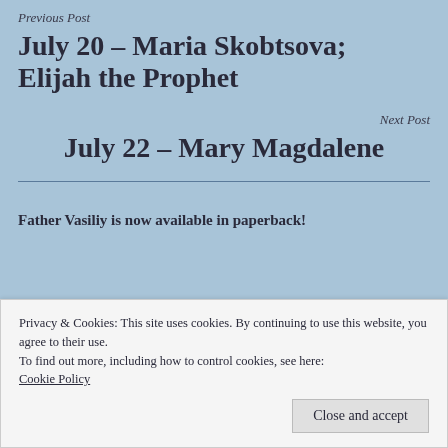Previous Post
July 20 – Maria Skobtsova; Elijah the Prophet
Next Post
July 22 – Mary Magdalene
Father Vasiliy is now available in paperback!
Privacy & Cookies: This site uses cookies. By continuing to use this website, you agree to their use.
To find out more, including how to control cookies, see here: Cookie Policy
Close and accept